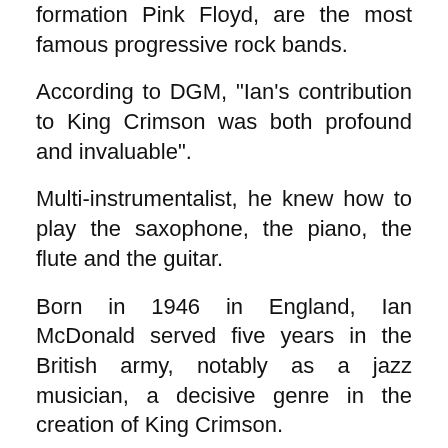formation Pink Floyd, are the most famous progressive rock bands.
According to DGM, "Ian's contribution to King Crimson was both profound and invaluable".
Multi-instrumentalist, he knew how to play the saxophone, the piano, the flute and the guitar.
Born in 1946 in England, Ian McDonald served five years in the British army, notably as a jazz musician, a decisive genre in the creation of King Crimson.
"We really hadn't heard anything like that," Genesis guitarist Steve Hackett, who attended King Crimson's early gigs, told Rolling Stone: